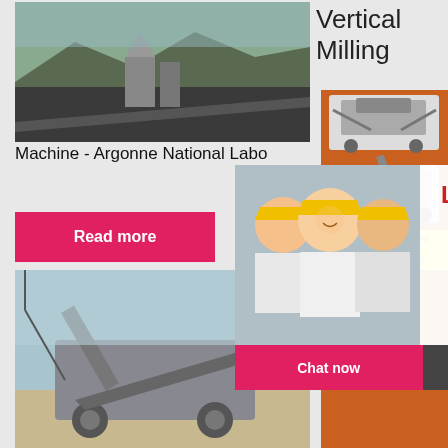[Figure (photo): Aerial view of a mining facility with heavy machinery and dark terrain]
Machine - Argonne National Labo
[Figure (photo): Live chat overlay showing workers in yellow hard hats with LIVE CHAT text and consultation prompt]
Read more
[Figure (photo): Mobile crushing/screening equipment on a construction site]
Vertical Milling
[Figure (photo): Orange sidebar ad showing mining/crushing machine equipment]
Enjoy 3% discount
Click to Chat
Enquiry
limingjlmofen@sina.com